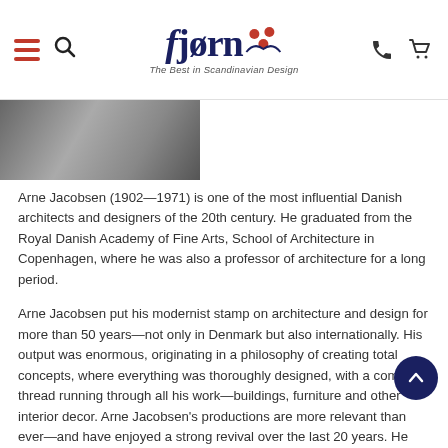fjørn — The Best in Scandinavian Design
[Figure (photo): Black and white photo of Arne Jacobsen, cropped to show upper body]
Arne Jacobsen (1902—1971) is one of the most influential Danish architects and designers of the 20th century. He graduated from the Royal Danish Academy of Fine Arts, School of Architecture in Copenhagen, where he was also a professor of architecture for a long period.
Arne Jacobsen put his modernist stamp on architecture and design for more than 50 years—not only in Denmark but also internationally. His output was enormous, originating in a philosophy of creating total concepts, where everything was thoroughly designed, with a common thread running through all his work—buildings, furniture and other interior decor. Arne Jacobsen's productions are more relevant than ever—and have enjoyed a strong revival over the last 20 years. He embodies the balancing act of elite creator and household name.
shop more work from Arne Jacobsen